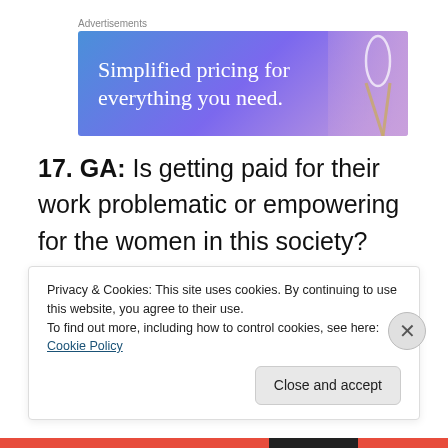Advertisements
[Figure (illustration): Advertisement banner with gradient blue-purple background and text 'Simplified pricing for everything you need.']
17. GA: Is getting paid for their work problematic or empowering for the women in this society?  And has money been a factor in enticing men to take up this art
Privacy & Cookies: This site uses cookies. By continuing to use this website, you agree to their use.
To find out more, including how to control cookies, see here: Cookie Policy
Close and accept